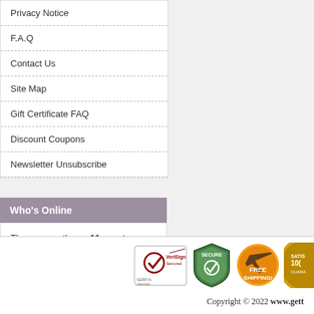Privacy Notice
F.A.Q
Contact Us
Site Map
Gift Certificate FAQ
Discount Coupons
Newsletter Unsubscribe
Who's Online
There currently are 11 guests online.
[Figure (logo): VeriSign Secured badge, Secure shield badge, Free Shipping badge, Satisfaction Guarantee badge]
Copyright © 2022 www.gett